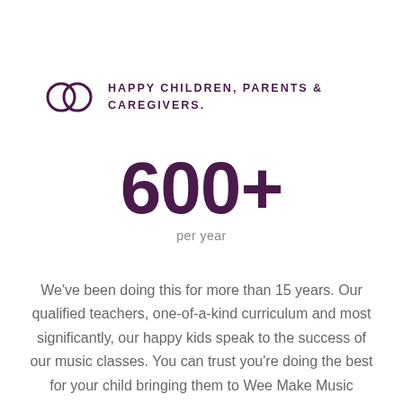HAPPY CHILDREN, PARENTS & CAREGIVERS.
600+
per year
We've been doing this for more than 15 years. Our qualified teachers, one-of-a-kind curriculum and most significantly, our happy kids speak to the success of our music classes. You can trust you're doing the best for your child bringing them to Wee Make Music classes.